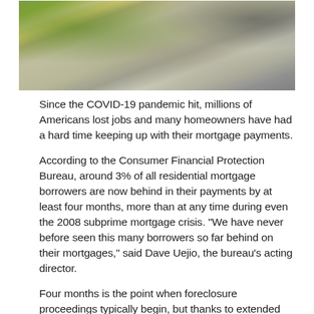[Figure (photo): Exterior photo of a home with yellow flowering plants/bushes in the foreground, a stone/concrete walkway, and white-painted building structure with railings and windows in the background.]
Since the COVID-19 pandemic hit, millions of Americans lost jobs and many homeowners have had a hard time keeping up with their mortgage payments.
According to the Consumer Financial Protection Bureau, around 3% of all residential mortgage borrowers are now behind in their payments by at least four months, more than at any time during even the 2008 subprime mortgage crisis. "We have never before seen this many borrowers so far behind on their mortgages," said Dave Uejio, the bureau's acting director.
Four months is the point when foreclosure proceedings typically begin, but thanks to extended federal moratoriums, mortgage lenders have been held back on starting any new foreclosures for the past year.
However, for the health of the mortgage industry and the housing market and the general U.S. economy, that